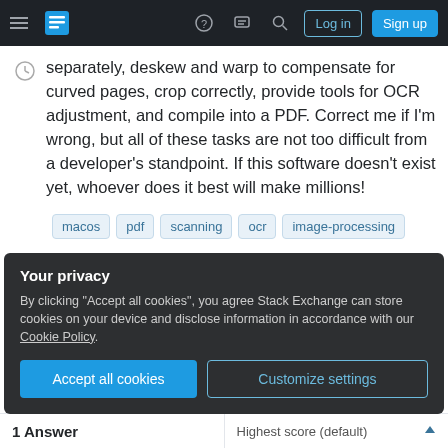Stack Exchange navigation bar with hamburger menu, logo, help, chat, search icons, Log in and Sign up buttons
separately, deskew and warp to compensate for curved pages, crop correctly, provide tools for OCR adjustment, and compile into a PDF. Correct me if I'm wrong, but all of these tasks are not too difficult from a developer's standpoint. If this software doesn't exist yet, whoever does it best will make millions!
macos
pdf
scanning
ocr
image-processing
Your privacy
By clicking "Accept all cookies", you agree Stack Exchange can store cookies on your device and disclose information in accordance with our Cookie Policy.
Accept all cookies   Customize settings
1 Answer
Highest score (default)